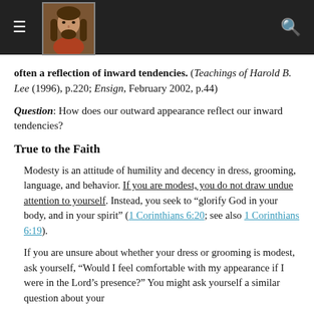[Figure (other): Dark navigation header bar with hamburger menu, a portrait image of Jesus Christ, and a search icon]
often a reflection of inward tendencies. (Teachings of Harold B. Lee (1996), p.220; Ensign, February 2002, p.44)
Question: How does our outward appearance reflect our inward tendencies?
True to the Faith
Modesty is an attitude of humility and decency in dress, grooming, language, and behavior. If you are modest, you do not draw undue attention to yourself. Instead, you seek to "glorify God in your body, and in your spirit" (1 Corinthians 6:20; see also 1 Corinthians 6:19).
If you are unsure about whether your dress or grooming is modest, ask yourself, “Would I feel comfortable with my appearance if I were in the Lord’s presence?” You might ask yourself a similar question about your